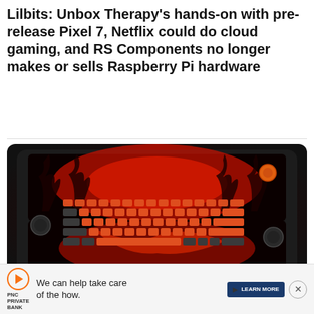Lilbits: Unbox Therapy's hands-on with pre-release Pixel 7, Netflix could do cloud gaming, and RS Components no longer makes or sells Raspberry Pi hardware
[Figure (photo): ZEETWIN RPI Cyberdeck — a dark, portable device with orange and dark-grey mechanical keyboard keys and dual screens showing a red fiery/tree graphic. Analog sticks on both sides and an orange dial on the right.]
ZEETWIN RPI Cyberdeck is a dual-screen mobile PC with a mechanical keyboard and Raspberry Pi CM4 (work in progress)
[Figure (other): Advertisement banner for PNC Private Bank: 'We can help take care of the how.' with LEARN MORE button and close button.]